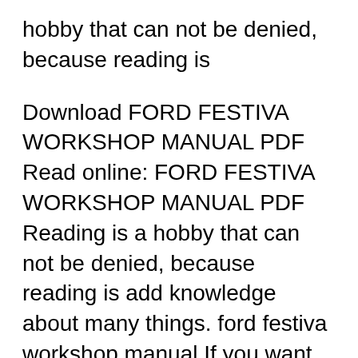hobby that can not be denied, because reading is
Download FORD FESTIVA WORKSHOP MANUAL PDF Read online: FORD FESTIVA WORKSHOP MANUAL PDF Reading is a hobby that can not be denied, because reading is add knowledge about many things. ford festiva workshop manual If you want to read online, please follow the link above Forensic Approaches To Buried Remains, Forgeries Of Memory And Meaning, Fossil Plants As Tests Of Climate вЂ¦ ford festiva workshop manual online tutorial Free access for ford festiva workshop manual online tutorial to read online or download to your computer